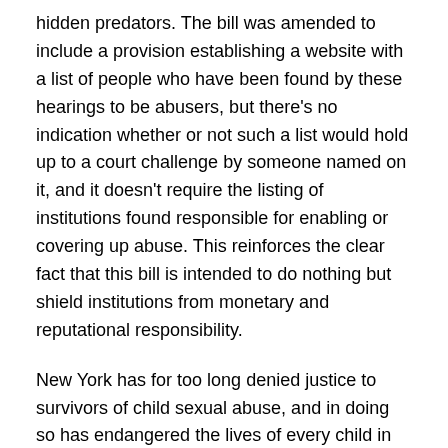hidden predators. The bill was amended to include a provision establishing a website with a list of people who have been found by these hearings to be abusers, but there's no indication whether or not such a list would hold up to a court challenge by someone named on it, and it doesn't require the listing of institutions found responsible for enabling or covering up abuse. This reinforces the clear fact that this bill is intended to do nothing but shield institutions from monetary and reputational responsibility.
New York has for too long denied justice to survivors of child sexual abuse, and in doing so has endangered the lives of every child in New York State. On average it takes survivors of sexual abuse between 20-40 years to disclose their abuse. A statute of limitations of only 5 years for child sexual abuse is nothing but a cruel affront to justice.